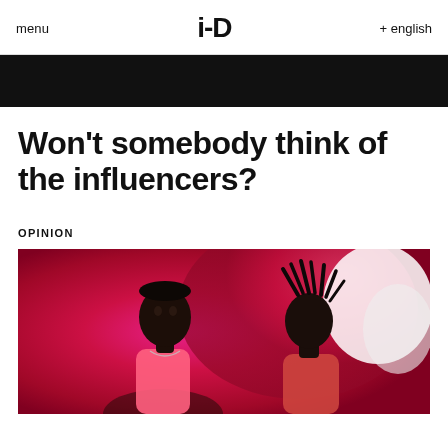menu   i-D   + english
[Figure (photo): Dark banner image at top of page, partial view]
Won't somebody think of the influencers?
OPINION
[Figure (photo): Two models against a vivid red and pink background, one with close-cropped hair and one with dreadlocks, wearing fashion runway outfits]